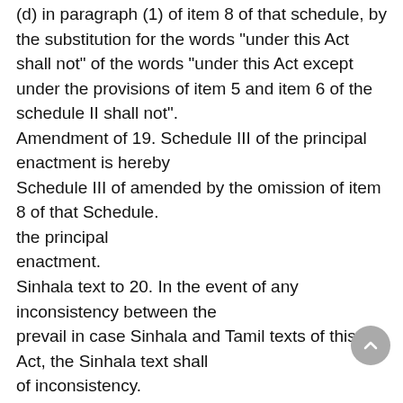(d) in paragraph (1) of item 8 of that schedule, by the substitution for the words “under this Act shall not” of the words “under this Act except under the provisions of item 5 and item 6 of the schedule II shall not”.
Amendment of 19. Schedule III of the principal enactment is hereby
Schedule III of amended by the omission of item 8 of that Schedule.
the principal enactment.
Sinhala text to 20. In the event of any inconsistency between the
prevail in case Sinhala and Tamil texts of this Act, the Sinhala text shall
of inconsistency.
prevail.